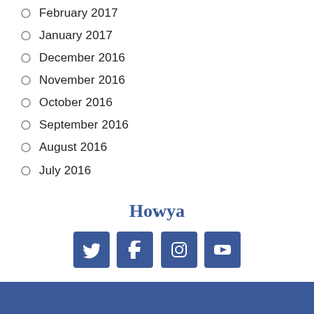February 2017
January 2017
December 2016
November 2016
October 2016
September 2016
August 2016
July 2016
Howya
[Figure (other): Row of four social media icon buttons: Twitter, Facebook, Instagram, YouTube — all in blue square buttons]